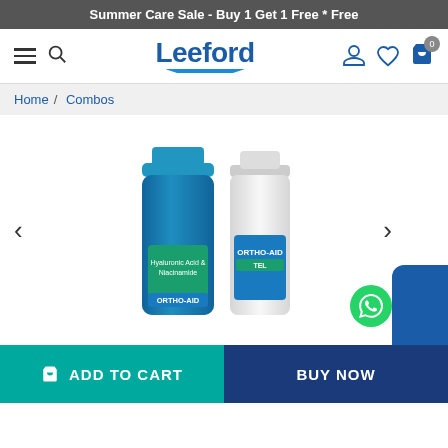Summer Care Sale - Buy 1 Get 1 Free * Free
[Figure (screenshot): Leeford pharmacy e-commerce website navigation bar with hamburger menu, search icon, Leeford logo, user icon, wishlist icon, and shopping cart with 0 badge]
Home / Combos
[Figure (photo): Two Ortho-Aid products side by side: a blue foam/spray bottle and a white bottle labeled ORTHO-AID TEL]
ADD TO CART
BUY NOW